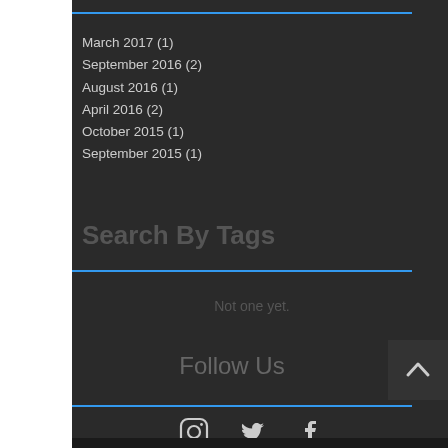March 2017 (1)
September 2016 (2)
August 2016 (1)
April 2016 (2)
October 2015 (1)
September 2015 (1)
Search By Tags
Not one yet.
Follow Us
[Figure (illustration): Social media icons: Instagram, Twitter, Facebook]